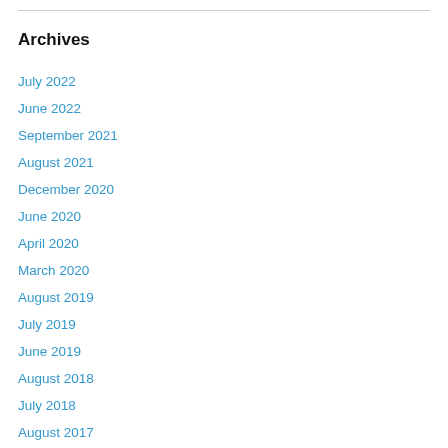Archives
July 2022
June 2022
September 2021
August 2021
December 2020
June 2020
April 2020
March 2020
August 2019
July 2019
June 2019
August 2018
July 2018
August 2017
July 2016
January 2016
August 2015